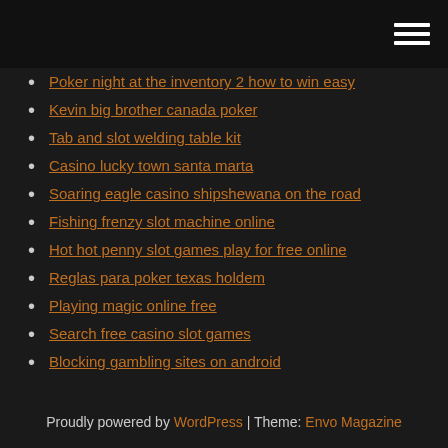[hamburger menu icon]
Poker night at the inventory 2 how to win easy
Kevin big brother canada poker
Tab and slot welding table kit
Casino lucky town santa marta
Soaring eagle casino shipshewana on the road
Fishing frenzy slot machine online
Hot hot penny slot games play for free online
Reglas para poker texas holdem
Playing magic online free
Search free casino slot games
Blocking gambling sites on android
Proudly powered by WordPress | Theme: Envo Magazine